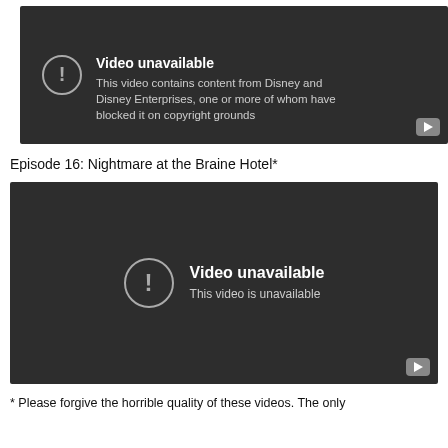[Figure (screenshot): YouTube video unavailable screenshot. Dark background with exclamation icon. Text reads: 'Video unavailable. This video contains content from Disney and Disney Enterprises, one or more of whom have blocked it on copyright grounds'. YouTube play button icon in bottom right.]
Episode 16: Nightmare at the Braine Hotel*
[Figure (screenshot): YouTube video unavailable screenshot. Dark background with exclamation icon. Text reads: 'Video unavailable. This video is unavailable'. YouTube play button icon in bottom right.]
* Please forgive the horrible quality of these videos. The only